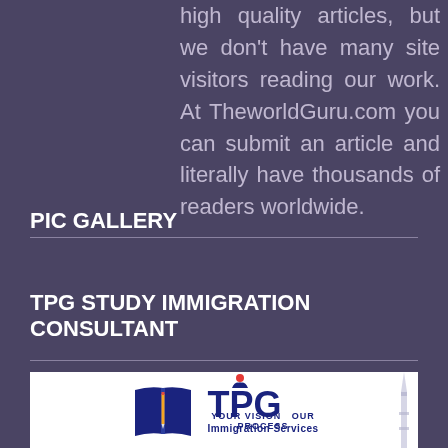high quality articles, but we don't have many site visitors reading our work. At TheworldGuru.com you can submit an article and literally have thousands of readers worldwide.
PIC GALLERY
TPG STUDY IMMIGRATION CONSULTANT
[Figure (logo): TPG Immigration Services logo with open book and pencil icon, red dot person silhouette, dark blue text reading 'TPG Immigration Services', tagline 'YOUR VISION   OUR PROCESS', and background tower silhouette]